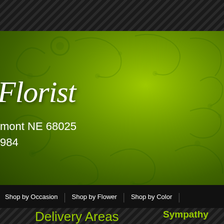[Figure (screenshot): Florist website screenshot with green gradient banner, floral decorative patterns, 'Florist' cursive logo, address info, navigation bar, delivery areas list, and sympathy section with plant image]
Florist
mont NE 68025
984
Shop by Occasion
Shop by Flower
Shop by Color
Sympathy
Delivery Areas
Fremont NE
Arlington NE
Cedar Bluffs NE
Herman NE